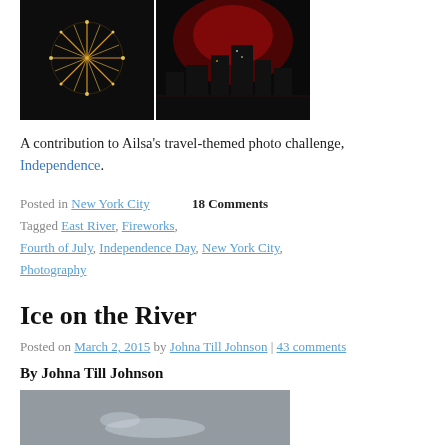[Figure (photo): Two fireworks photos side by side: left shows golden fireworks burst against dark sky, right shows red-lit cityscape with skyscrapers at night]
A contribution to Ailsa's travel-themed photo challenge, Independence.
Posted in New York City   18 Comments
Tagged East River, Fireworks, Fourth of July, Independence Day, New York City, Photography
Ice on the River
Posted on March 2, 2015 by Johna Till Johnson | 43 comments
By Johna Till Johnson
[Figure (photo): Black and white photo of person near icy river]